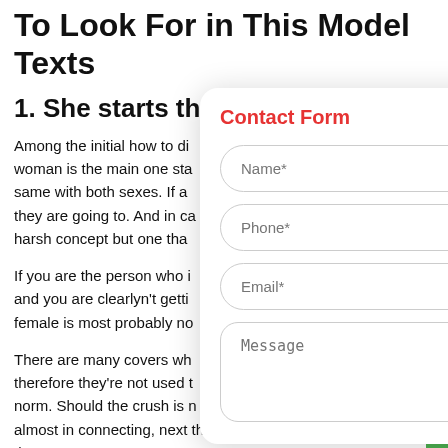To Look For in This Model Texts
1. She starts th
Among the initial how to di woman is the main one sta same with both sexes. If a they are going to. And in ca harsh concept but one tha
If you are the person who i and you are clearlyn't getti female is most probably no
There are many covers wh therefore they're not used t norm. Should the crush is n almost in connecting, next the woman is probably simply not that
[Figure (other): Contact Form popup overlay with fields: Name*, Phone*, Email*, Message]